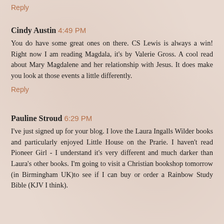Reply
Cindy Austin  4:49 PM
You do have some great ones on there. CS Lewis is always a win! Right now I am reading Magdala, it's by Valerie Gross. A cool read about Mary Magdalene and her relationship with Jesus. It does make you look at those events a little differently.
Reply
Pauline Stroud  6:29 PM
I've just signed up for your blog. I love the Laura Ingalls Wilder books and particularly enjoyed Little House on the Prarie. I haven't read Pioneer Girl - I understand it's very different and much darker than Laura's other books. I'm going to visit a Christian bookshop tomorrow (in Birmingham UK)to see if I can buy or order a Rainbow Study Bible (KJV I think).